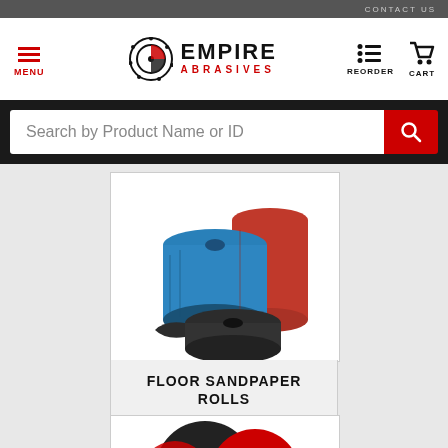CONTACT US
[Figure (logo): Empire Abrasives logo with circular saw blade graphic, EMPIRE in bold black, ABRASIVES in red below]
MENU
REORDER  CART
Search by Product Name or ID
[Figure (photo): Three rolls of floor sandpaper in red, blue, and black/dark grey colors]
FLOOR SANDPAPER ROLLS
[Figure (photo): Partial view of red and black abrasive discs at the bottom of the page]